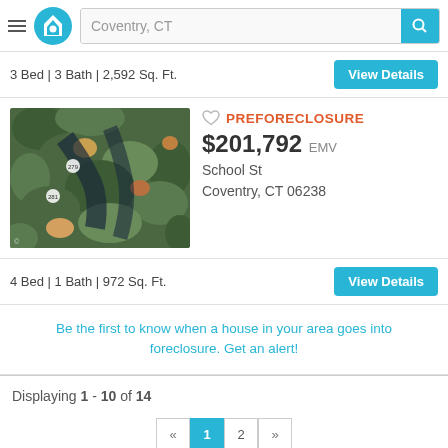Coventry, CT
3 Bed | 3 Bath | 2,592 Sq. Ft.
[Figure (photo): Aerial view of property with trees - School St, Coventry, CT 06238]
PREFORECLOSURE $201,792 EMV School St Coventry, CT 06238
4 Bed | 1 Bath | 972 Sq. Ft.
Be the first to know when a house in your area goes into foreclosure. Get an alert!
Displaying 1 - 10 of 14